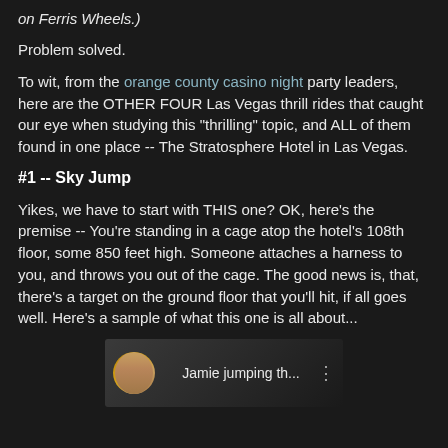on Ferris Wheels.)
Problem solved.
To wit, from the orange county casino night party leaders, here are the OTHER FOUR Las Vegas thrill rides that caught our eye when studying this "thrilling" topic, and ALL of them found in one place -- The Stratosphere Hotel in Las Vegas.
#1 -- Sky Jump
Yikes, we have to start with THIS one?  OK, here's the premise -- You're standing in a cage atop the hotel's 108th floor, some 850 feet high.  Someone attaches a harness to you, and throws you out of the cage.  The good news is, that, there's a target on the ground floor that you'll hit, if all goes well.  Here's a sample of what this one is all about...
[Figure (screenshot): Video thumbnail showing a person with text 'Jamie jumping th...' and a three-dot menu icon on a dark background]